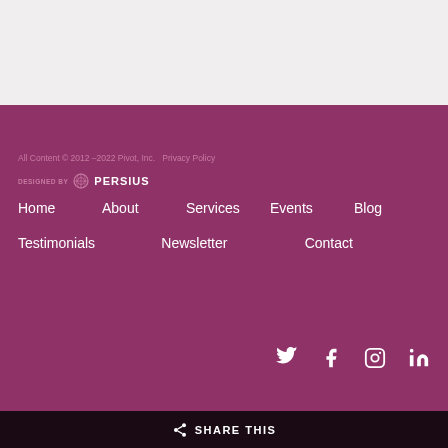All Content © 2012 –2022 Pivot, Inc.  Privacy Policy
[Figure (logo): DESIGNED BY PERSIUS logo with circular icon]
Home
About
Services
Events
Blog
Testimonials
Newsletter
Contact
[Figure (infographic): Social media icons: Twitter, Facebook, Instagram, LinkedIn]
SHARE THIS